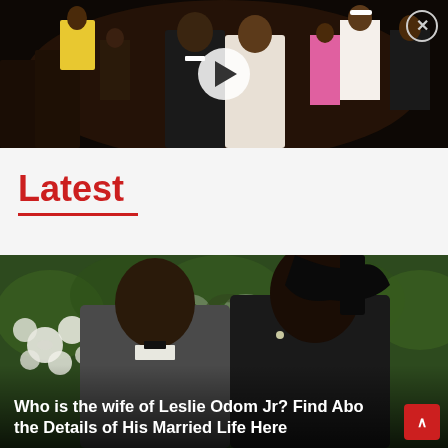[Figure (photo): Video thumbnail showing a couple at a formal event, man in tuxedo and woman in formal dress, sitting in an audience. A play button overlay is visible in the center. A close (X) button is in the top right corner.]
Latest
[Figure (photo): Photo of Leslie Odom Jr. and his wife on a red carpet with a green floral backdrop and Tony Awards (OB) signage. Man in grey suit with bow tie, woman with braided hair in ponytail.]
Who is the wife of Leslie Odom Jr? Find Abo the Details of His Married Life Here